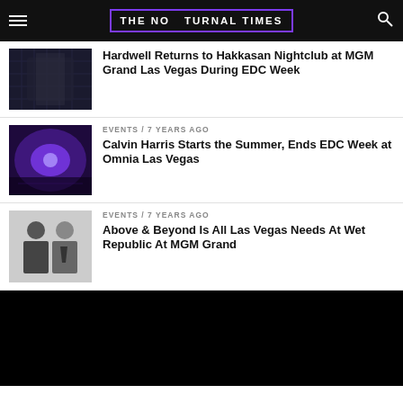THE NOCTURNAL TIMES
Hardwell Returns to Hakkasan Nightclub at MGM Grand Las Vegas During EDC Week
EVENTS / 7 years ago
Calvin Harris Starts the Summer, Ends EDC Week at Omnia Las Vegas
EVENTS / 7 years ago
Above & Beyond Is All Las Vegas Needs At Wet Republic At MGM Grand
[Figure (photo): Black video player block]